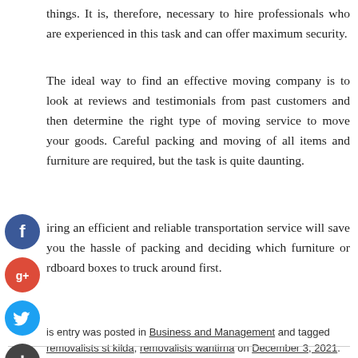things. It is, therefore, necessary to hire professionals who are experienced in this task and can offer maximum security.
The ideal way to find an effective moving company is to look at reviews and testimonials from past customers and then determine the right type of moving service to move your goods. Careful packing and moving of all items and furniture are required, but the task is quite daunting.
Hiring an efficient and reliable transportation service will save you the hassle of packing and deciding which furniture or cardboard boxes to truck around first.
This entry was posted in Business and Management and tagged removalists st kilda, removalists wantirna on December 3, 2021.
[Figure (other): Social media icons: Facebook (blue circle with f), Google+ (red circle with g+), Twitter (blue circle with bird), and a dark plus/add button]